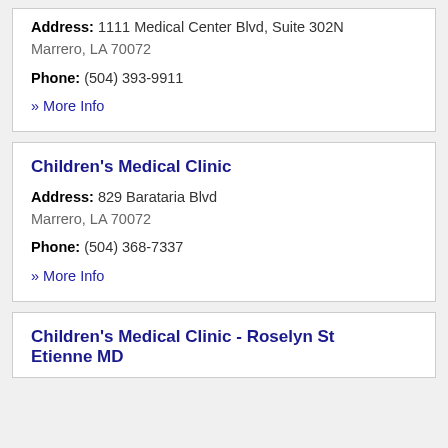Address: 1111 Medical Center Blvd, Suite 302N
Marrero, LA 70072
Phone: (504) 393-9911
» More Info
Children's Medical Clinic
Address: 829 Barataria Blvd
Marrero, LA 70072
Phone: (504) 368-7337
» More Info
Children's Medical Clinic - Roselyn St Etienne MD